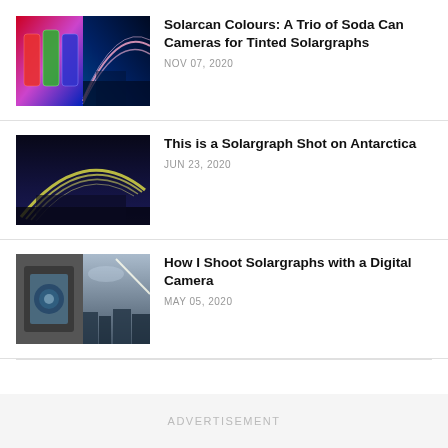[Figure (photo): Composite image: colorful solarcan cans on left and long-exposure solargraph arc on right]
Solarcan Colours: A Trio of Soda Can Cameras for Tinted Solargraphs
NOV 07, 2020
[Figure (photo): Dark solargraph image showing bright arc streaks over an angular illuminated structure in Antarctica]
This is a Solargraph Shot on Antarctica
JUN 23, 2020
[Figure (photo): Composite: digital camera body on left, wide-angle fisheye solargraph of buildings and sky on right]
How I Shoot Solargraphs with a Digital Camera
MAY 05, 2020
ADVERTISEMENT